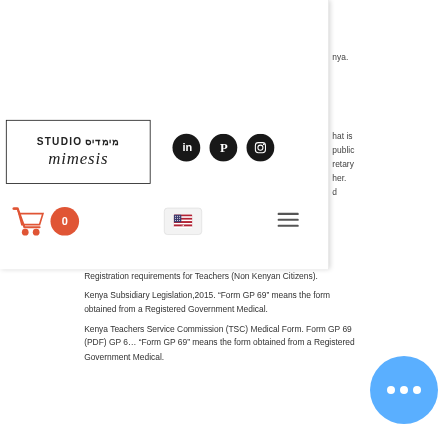[Figure (logo): Studio Mimesis logo with Hebrew text and border, plus LinkedIn, Pinterest, Instagram social icons, shopping cart, flag selector, and hamburger menu navigation overlay]
nya.
that is public retary her. d
Registration requirements for Teachers (Non Kenyan Citizens).
Kenya Subsidiary Legislation,2015. “Form GP 69” means the form obtained from a Registered Government Medical.
Kenya Teachers Service Commission (TSC) Medical Form. Form GP 69 (PDF) GP 6… “Form GP 69” means the form obtained from a Registered Government Medical.